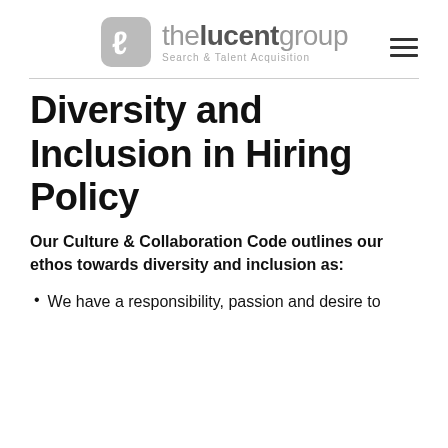the lucent group – Search & Talent Acquisition
Diversity and Inclusion in Hiring Policy
Our Culture & Collaboration Code outlines our ethos towards diversity and inclusion as:
We have a responsibility, passion and desire to